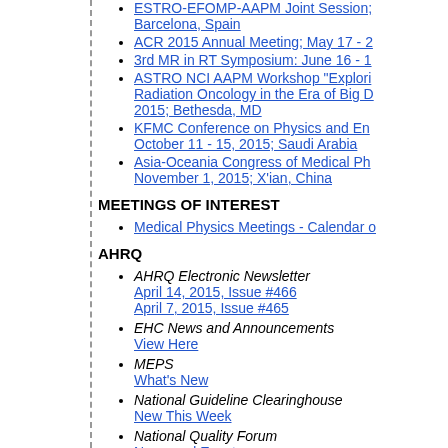ESTRO-EFOMP-AAPM Joint Session; Barcelona, Spain
ACR 2015 Annual Meeting; May 17 - 2
3rd MR in RT Symposium: June 16 - 1
ASTRO NCI AAPM Workshop "Explori Radiation Oncology in the Era of Big D 2015; Bethesda, MD
KFMC Conference on Physics and En October 11 - 15, 2015; Saudi Arabia
Asia-Oceania Congress of Medical Ph November 1, 2015; X'ian, China
MEETINGS OF INTEREST
Medical Physics Meetings - Calendar o
AHRQ
AHRQ Electronic Newsletter
April 14, 2015, Issue #466
April 7, 2015, Issue #465
EHC News and Announcements
View Here
MEPS
What's New
National Guideline Clearinghouse
New This Week
National Quality Forum
News and Events
National Quality Measures Clearing